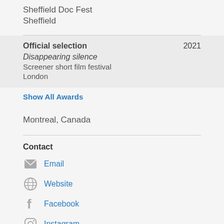Sheffield Doc Fest
Sheffield
Official selection
Disappearing silence
Screener short film festival
London
2021
Show All Awards
Montreal, Canada
Contact
Email
Website
Facebook
Instagram